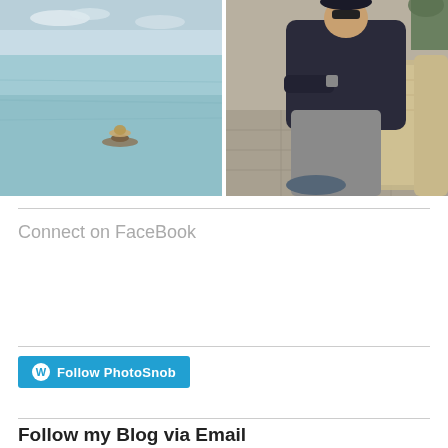[Figure (photo): Person sitting/reclining in shallow ocean water wearing a hat, clear turquoise sea and sky in background]
[Figure (photo): Person wearing dark hoodie and sunglasses sitting in a wicker/rattan chair on an outdoor patio, legs crossed showing patterned shoes]
Connect on FaceBook
[Figure (other): WordPress Follow button labeled 'Follow PhotoSnob' with WordPress logo icon on teal/blue background]
Follow my Blog via Email